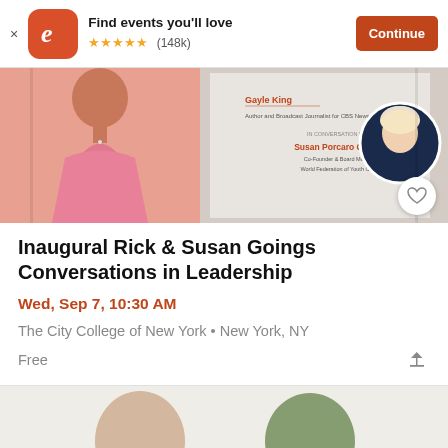Find events you'll love ★★★★★ (148k) Continue
[Figure (screenshot): Eventbrite event banner showing Gayle King (Author and Broadcast Journalist for CBS News) in conversation with Susan Porcaro Goings (Co-Founder & Board Member, World Federation of Youth Clubs). Left: woman in pink dress, Right: circular headshot of blonde woman.]
Inaugural Rick & Susan Goings Conversations in Leadership
Wed, Sep 7, 10:30 AM
The City College of New York • New York, NY
Free
[Figure (photo): Partial bottom strip showing faces, partially cropped]